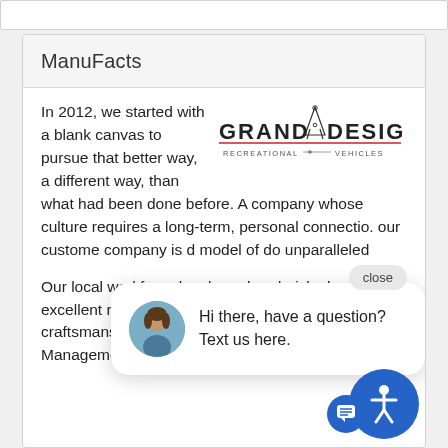ManuFacts
[Figure (logo): Grand Design Recreational Vehicles logo with compass/drafting instrument graphic]
In 2012, we started with a blank canvas to pursue that better way, a different way, than what had been done before. A company whose culture requires a long-term, personal connection. our custome company is d model of do unparalleled
[Figure (screenshot): Chat popup with woman avatar: 'Hi there, have a question? Text us here.' with close button]
Our local workforce has been hand-picke has an excellent reputation for second-to industry craftsmanship, and our CEO and Senior Management actively work with the production